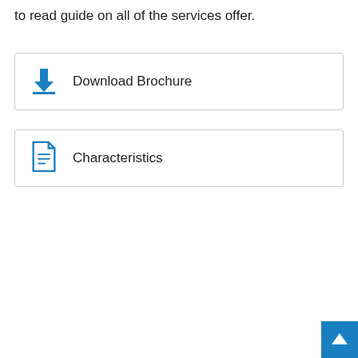to read guide on all of the services offer.
Download Brochure
Characteristics
[Figure (other): Blue scroll-to-top button in bottom-right corner with upward arrow icon]